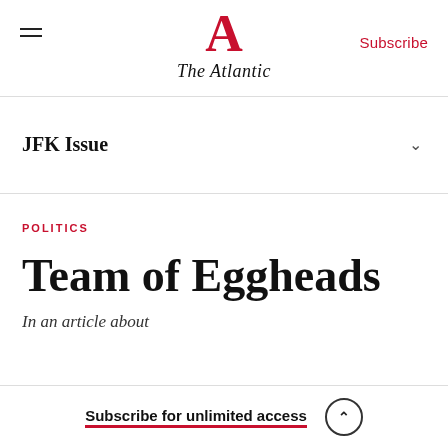The Atlantic
JFK Issue
POLITICS
Team of Eggheads
Subscribe for unlimited access